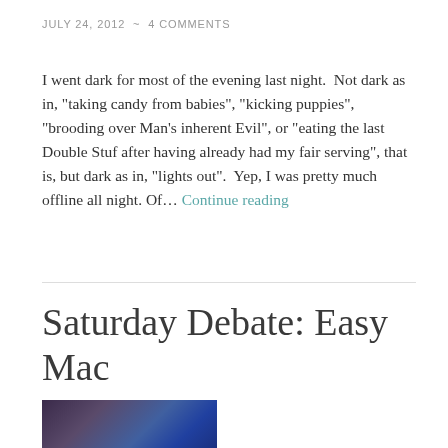JULY 24, 2012  ~  4 COMMENTS
I went dark for most of the evening last night. Not dark as in, "taking candy from babies", "kicking puppies", "brooding over Man's inherent Evil", or "eating the last Double Stuf after having already had my fair serving", that is, but dark as in, "lights out". Yep, I was pretty much offline all night. Of… Continue reading
Saturday Debate: Easy Mac
[Figure (photo): Partial photo of what appears to be a shelf or box with blue and dark packaging visible]